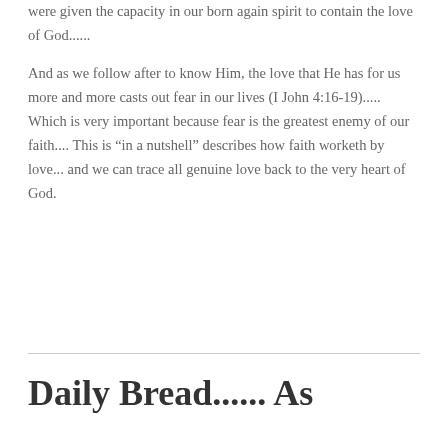were given the capacity in our born again spirit to contain the love of God......
And as we follow after to know Him, the love that He has for us more and more casts out fear in our lives (I John 4:16-19)..... Which is very important because fear is the greatest enemy of our faith.... This is “in a nutshell” describes how faith worketh by love... and we can trace all genuine love back to the very heart of God.
Daily Bread...... As